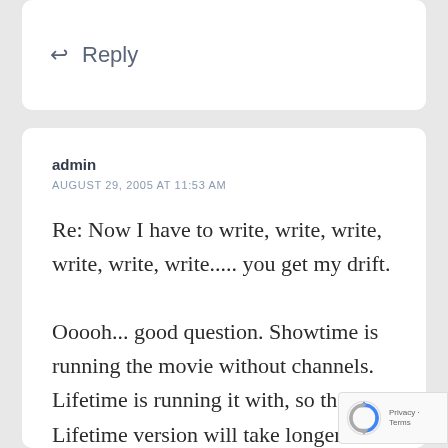↩ Reply
admin
AUGUST 29, 2005 AT 11:53 AM
Re: Now I have to write, write, write, write, write, write..... you get my drift.

Ooooh... good question. Showtime is running the movie without channels. Lifetime is running it with, so the Lifetime version will take longer. I